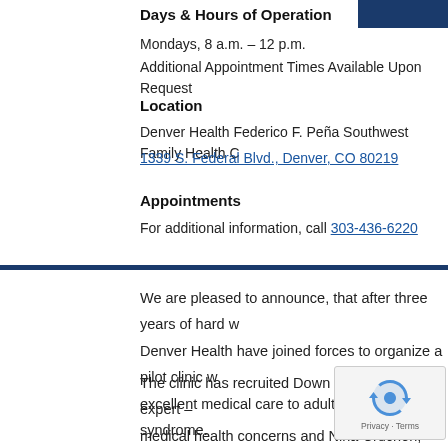Days & Hours of Operation
Mondays, 8 a.m. – 12 p.m.
Additional Appointment Times Available Upon Request
Location
Denver Health Federico F. Peña Southwest Family Health C...
1339 S. Federal Blvd., Denver, CO 80219
Appointments
For additional information, call 303-436-6220
We are pleased to announce, that after three years of hard w... Denver Health have joined forces to organize a pilot clinic w... excellent medical care to adults with Down syndrome.
The clinic has recruited Down syndrome expert –... medical health concerns and Nina Cruchon, LCS... concerns on Mondays at the Denver Health Federico F. Pen...